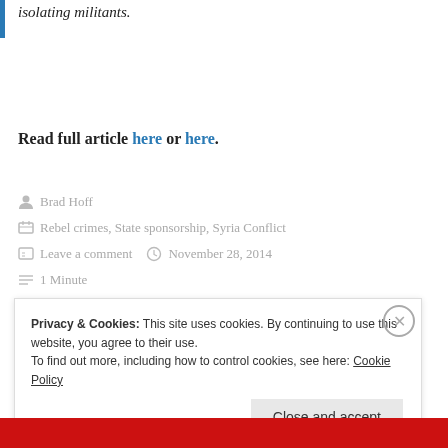isolating militants.
Read full article here or here.
Brad Hoff
Rebel crimes, State sponsorship, Syria Conflict
Leave a comment   November 28, 2014
1 Minute
Privacy & Cookies: This site uses cookies. By continuing to use this website, you agree to their use.
To find out more, including how to control cookies, see here: Cookie Policy
Close and accept